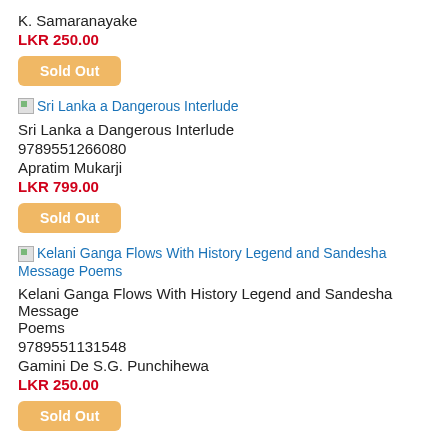K. Samaranayake
LKR 250.00
Sold Out
Sri Lanka a Dangerous Interlude
Sri Lanka a Dangerous Interlude
9789551266080
Apratim Mukarji
LKR 799.00
Sold Out
Kelani Ganga Flows With History Legend and Sandesha Message Poems
Kelani Ganga Flows With History Legend and Sandesha Message Poems
9789551131548
Gamini De S.G. Punchihewa
LKR 250.00
Sold Out